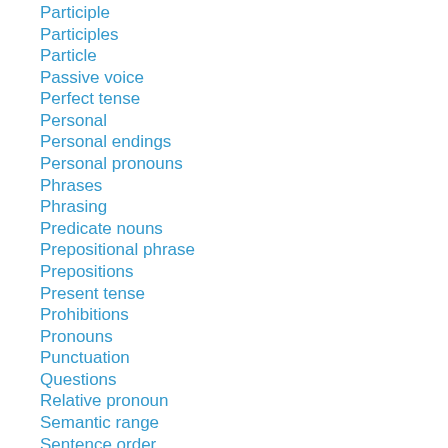Participle
Participles
Particle
Passive voice
Perfect tense
Personal
Personal endings
Personal pronouns
Phrases
Phrasing
Predicate nouns
Prepositional phrase
Prepositions
Present tense
Prohibitions
Pronouns
Punctuation
Questions
Relative pronoun
Semantic range
Sentence order
Sentence syntax
Solecism
Subjunctive
Textual Criticism